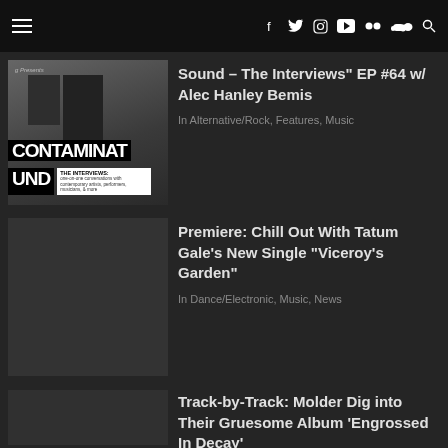Navigation bar with hamburger menu and social icons: Facebook, Twitter, Instagram, YouTube, Flickr, SoundCloud, Search
[Figure (photo): Contaminated Sound – The Interviews EP album art, black and white photo with CONTAMINATED SOUND logo]
Sound – The Interviews" EP #64 w/ Alec Hanley Bemis
In Alternative/Rock, Features, Music
[Figure (photo): Dark gray placeholder thumbnail image for Tatum Gale article]
Premiere: Chill Out With Tatum Gale's New Single “Viceroy’s Garden”
In Dance/Electronic, Music, News
[Figure (photo): Dark gray placeholder thumbnail image for Molder article]
Track-by-Track: Molder Dig into Their Gruesome Album ‘Engrossed In Decay’